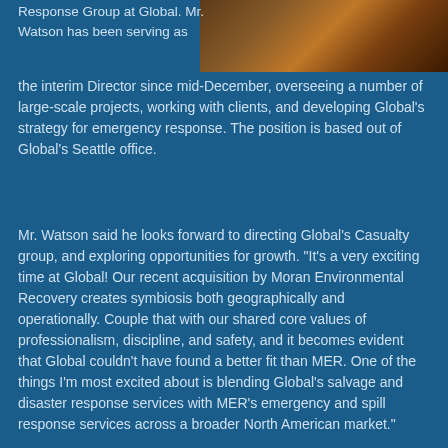Response Group at Global. Mr. Watson has been serving as the interim Director since mid-December, overseeing a number of large-scale projects, working with clients, and developing Global's strategy for emergency response. The position is based out of Global's Seattle office.
[Figure (photo): Close-up photo of industrial or maritime equipment with amber/orange lighting tones]
Mr. Watson said he looks forward to directing Global's Casualty group, and exploring opportunities for growth. "It's a very exciting time at Global! Our recent acquisition by Moran Environmental Recovery creates symbiosis both geographically and operationally. Couple that with our shared core values of professionalism, discipline, and safety, and it becomes evident that Global couldn't have found a better fit than MER. One of the things I'm most excited about is blending Global's salvage and disaster response services with MER's emergency and spill response services across a broader North American market."